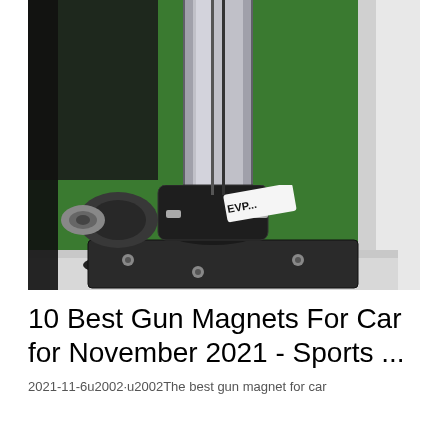[Figure (photo): Close-up photo of a gun magnet mount device — a black cast iron base plate with a shiny stainless steel cylindrical body, mounted on a white shelf frame against a green background. A white label reading 'EVP...' is visible on the mount.]
10 Best Gun Magnets For Car for November 2021 - Sports ...
2021-11-6u2002·u2002The best gun magnet for car